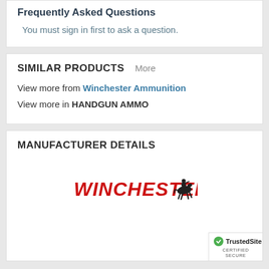Frequently Asked Questions
You must sign in first to ask a question.
SIMILAR PRODUCTS  More
View more from Winchester Ammunition
View more in HANDGUN AMMO
MANUFACTURER DETAILS
[Figure (logo): Winchester brand logo with red italic text 'WINCHESTER' and a rider on horseback silhouette]
[Figure (logo): TrustedSite certified secure badge with green checkmark]